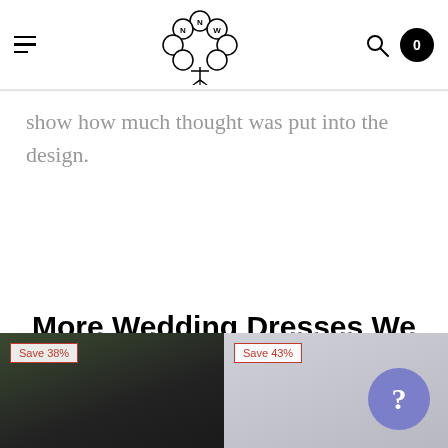NNW logo, hamburger menu, search, cart (0)
show how much thought was put into the design.
More Wedding Dresses We Think You'll Love!
[Figure (photo): Two product thumbnail images of wedding dresses, partially visible at bottom. First image shows a dark outdoor scene, second is a gray placeholder. Each has a save badge: 'Save 38%' and 'Save 43%' respectively.]